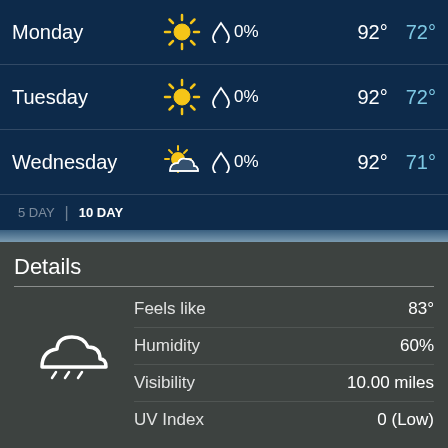| Day | Condition | Precip | High | Low |
| --- | --- | --- | --- | --- |
| Monday | Sunny | 0% | 92° | 72° |
| Tuesday | Sunny | 0% | 92° | 72° |
| Wednesday | Partly Cloudy | 0% | 92° | 71° |
5 DAY | 10 DAY
Details
| Metric | Value |
| --- | --- |
| Feels like | 83° |
| Humidity | 60% |
| Visibility | 10.00 miles |
| UV Index | 0 (Low) |
Tonight - Mostly cloudy. Winds from SSE to S at 9 to 10 mph (14.5 to 16.1 kph). The overnight low will be 74 °F (23.3 °C).
Today - Partly cloudy with a high of 90 °F (32.2 °C). Winds variable at 7 to 12 mph (11.3 to 19.3 kph).